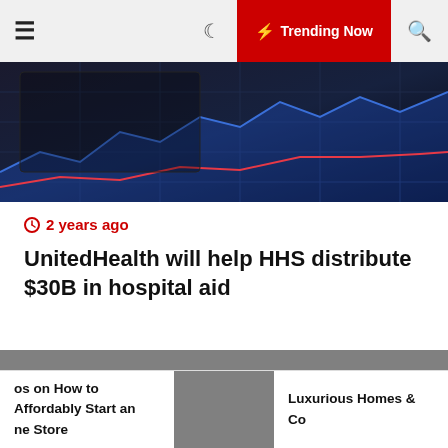≡  🌙  ⚡ Trending Now  🔍
[Figure (photo): Dark financial chart display with blue and red graph lines on screen]
🕐 2 years ago
UnitedHealth will help HHS distribute $30B in hospital aid
[Figure (photo): Grey placeholder image for second article]
🕐 2 years ago
os on How to Affordably Start an ne Store  |  Luxurious Homes & Co